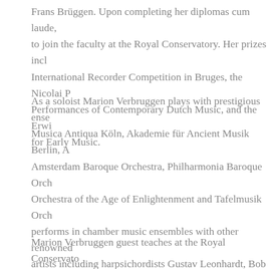Frans Brüggen. Upon completing her diplomas cum laude, to join the faculty at the Royal Conservatory. Her prizes incl International Recorder Competition in Bruges, the Nicolai P Performances of Contemporary Dutch Music, and the Erwi for Early Music.
As a soloist Marion Verbruggen plays with prestigious ense Musica Antiqua Köln, Akademie für Ancient Musik Berlin, A Amsterdam Baroque Orchestra, Philharmonia Baroque Orch Orchestra of the Age of Enlightenment and Tafelmusik Orch performs in chamber music ensembles with other renowned artists including harpsichordists Gustav Leonhardt, Bob van Ton Koopman, gambist Wieland Kuijken, baroque cellist Jaa and violinist Lucy van Dael. Her early music festival appeara Utrecht, Berkeley, Berlin, Boston and Tel Aviv. Marion Verbr plays solo recitals throughout the world.
Marion Verbruggen guest teaches at the Royal Conservato Hague and gives master classes and workshops throughout